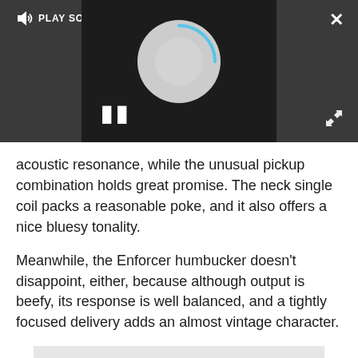[Figure (screenshot): Media player overlay on dark background showing a loading/spinning circle icon, pause button (two vertical bars), PLAY SOUND label with speaker icon at top left, X close button at top right, and expand arrows at bottom right.]
acoustic resonance, while the unusual pickup combination holds great promise. The neck single coil packs a reasonable poke, and it also offers a nice bluesy tonality.
Meanwhile, the Enforcer humbucker doesn't disappoint, either, because although output is beefy, its response is well balanced, and a tightly focused delivery adds an almost vintage character.
Advertisement